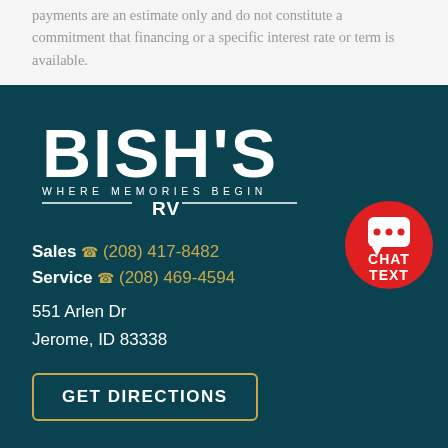payments are an estimate only and do not constitute a commitment that financing or a specific interest rate or term is available.
[Figure (logo): Bish's RV logo — white text on dark teal background reading BISH'S / WHERE MEMORIES BEGIN / RV]
Sales (208) 417-8482
Service (208) 469-4594
551 Arlen Dr Jerome, ID 83338
[Figure (illustration): Red circular chat/text button with speech bubble icon and words CHAT TEXT]
GET DIRECTIONS